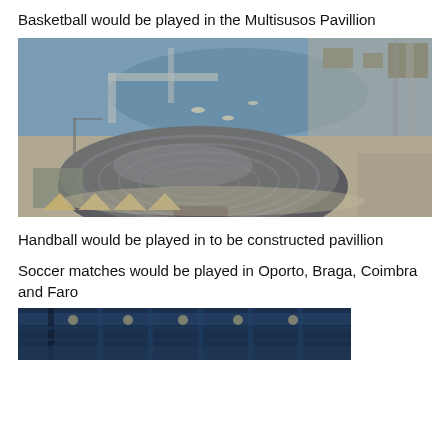Basketball would be played in the Multisusos Pavillion
[Figure (photo): Aerial photograph showing the Multisusos Pavillion – a large dome-shaped arena near a waterfront/harbor, with surrounding roads and buildings under construction.]
Handball would be played in to be constructed pavillion
Soccer matches would be played in Oporto, Braga, Coimbra and Faro
[Figure (photo): Partial view of a sports arena interior, showing blue structural elements and seating.]